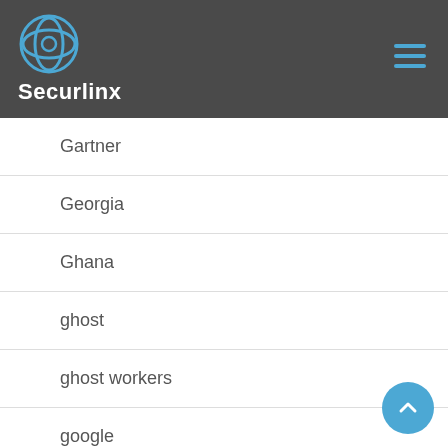Securlinx
Gartner
Georgia
Ghana
ghost
ghost workers
google
government
Grenada